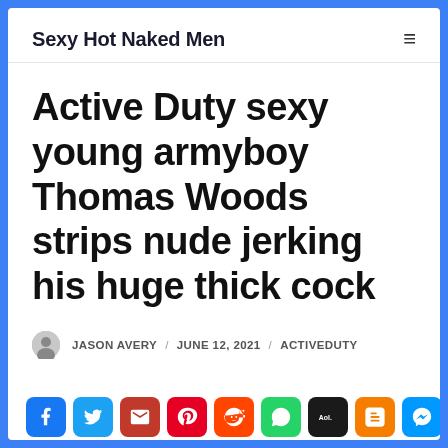Sexy Hot Naked Men
Active Duty sexy young armyboy Thomas Woods strips nude jerking his huge thick cock
JASON AVERY / JUNE 12, 2021 / ACTIVEDUTY
[Figure (other): Social media share buttons row: Facebook, Twitter, Email, Pinterest, Reddit, WhatsApp, AOL, Blogger, Messenger]